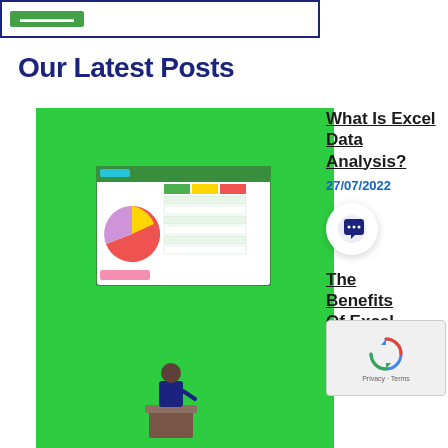[Figure (screenshot): Partial view of a framed content box with a green button, bordered in dark navy blue]
Our Latest Posts
[Figure (illustration): Green background image showing a spreadsheet/pie chart illustration and a person at a podium]
What Is Excel Data Analysis?
27/07/2022
[Figure (other): Chat bubble icon in a circular button]
The Benefits Of Excel
[Figure (other): reCAPTCHA widget with rotating arrows logo and Privacy - Terms text]